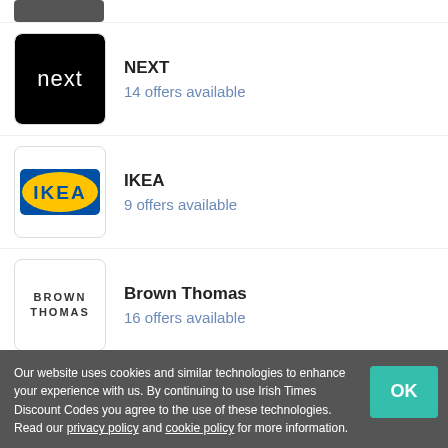NEXT – 14 offers available
IKEA – 9 offers available
Brown Thomas – 16 offers available
Emma Sleep – 5 offers available
Our website uses cookies and similar technologies to enhance your experience with us. By continuing to use Irish Times Discount Codes you agree to the use of these technologies. Read our privacy policy and cookie policy for more information.